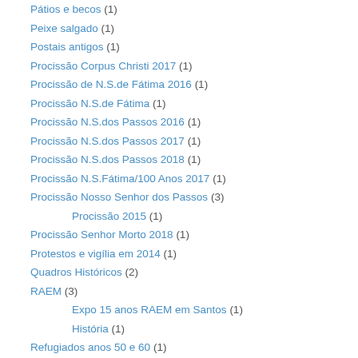Pátios e becos (1)
Peixe salgado (1)
Postais antigos (1)
Procissão Corpus Christi 2017 (1)
Procissão de N.S.de Fátima 2016 (1)
Procissão N.S.de Fátima (1)
Procissão N.S.dos Passos 2016 (1)
Procissão N.S.dos Passos 2017 (1)
Procissão N.S.dos Passos 2018 (1)
Procissão N.S.Fátima/100 Anos 2017 (1)
Procissão Nosso Senhor dos Passos (3)
Procissão 2015 (1)
Procissão Senhor Morto 2018 (1)
Protestos e vigília em 2014 (1)
Quadros Históricos (2)
RAEM (3)
Expo 15 anos RAEM em Santos (1)
História (1)
Refugiados anos 50 e 60 (1)